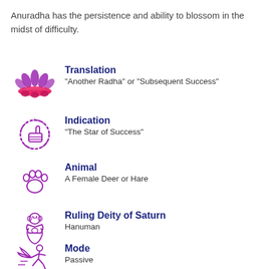Anuradha has the persistence and ability to blossom in the midst of difficulty.
Translation
"Another Radha" or "Subsequent Success"
Indication
“The Star of Success”
Animal
A Female Deer or Hare
Ruling Deity of Saturn
Hanuman
Mode
Passive